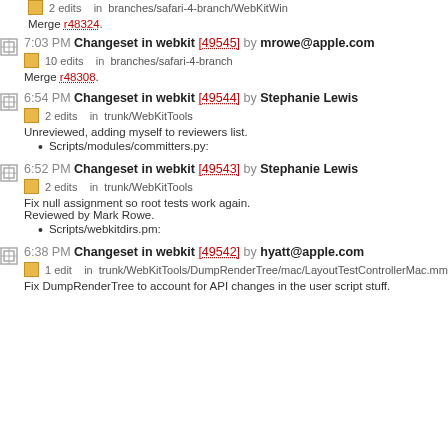2 edits   in  branches/safari-4-branch/WebKitWin
Merge r48324.
7:03 PM Changeset in webkit [49545] by mrowe@apple.com
10 edits   in  branches/safari-4-branch
Merge r48308.
6:54 PM Changeset in webkit [49544] by Stephanie Lewis
2 edits   in  trunk/WebKitTools
Unreviewed, adding myself to reviewers list.
Scripts/modules/committers.py:
6:52 PM Changeset in webkit [49543] by Stephanie Lewis
2 edits   in  trunk/WebKitTools
Fix null assignment so root tests work again.
Reviewed by Mark Rowe.
Scripts/webkitdirs.pm:
6:38 PM Changeset in webkit [49542] by hyatt@apple.com
1 edit   in  trunk/WebKitTools/DumpRenderTree/mac/LayoutTestControllerMac.mm
Fix DumpRenderTree to account for API changes in the user script stuff.